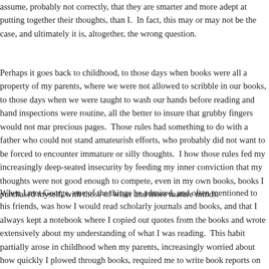assume, probably not correctly, that they are smarter and more adept at putting together their thoughts, than I.  In fact, this may or may not be the case, and ultimately it is, altogether, the wrong question.
Perhaps it goes back to childhood, to those days when books were all a property of my parents, where we were not allowed to scribble in our books, to those days when we were taught to wash our hands before reading and hand inspections were routine, all the better to insure that grubby fingers would not mar precious pages.  Those rules had something to do with a father who could not stand amateurish efforts, who probably did not want to be forced to encounter immature or silly thoughts.  I how those rules fed my increasingly deep-seated insecurity by feeding my inner conviction that my thoughts were not good enough to compete, even in my own books, books I purchased myself, with those of wiser and more mature minds.
When I met George, one of the things he admired, and often mentioned to his friends, was how I would read scholarly journals and books, and that I always kept a notebook where I copied out quotes from the books and wrote extensively about my understanding of what I was reading.  This habit partially arose in childhood when my parents, increasingly worried about how quickly I plowed through books, required me to write book reports on everything I read.